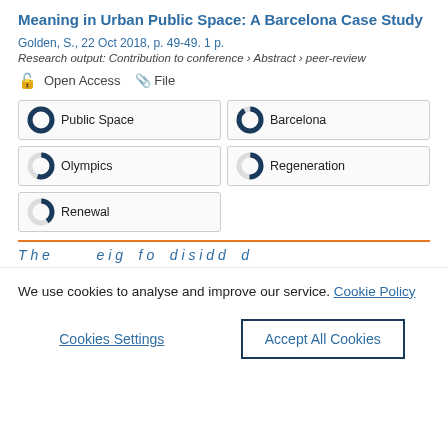Meaning in Urban Public Space: A Barcelona Case Study
Golden, S., 22 Oct 2018, p. 49-49. 1 p.
Research output: Contribution to conference › Abstract › peer-review
Open Access   File
Public Space
Barcelona
Olympics
Regeneration
Renewal
We use cookies to analyse and improve our service. Cookie Policy
Cookies Settings
Accept All Cookies